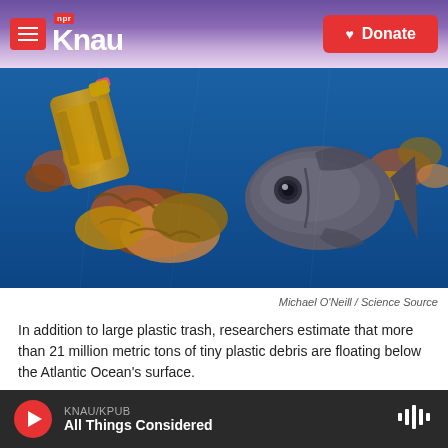KNAU NPR / Donate
[Figure (photo): Underwater photograph showing a plastic bottle and a grey fish surrounded by golden seaweed/sargassum in blue ocean water.]
Michael O'Neill / Science Source
In addition to large plastic trash, researchers estimate that more than 21 million metric tons of tiny plastic debris are floating below the Atlantic Ocean's surface.
Scientists are trying to understand how much
KNAU/KPUB All Things Considered